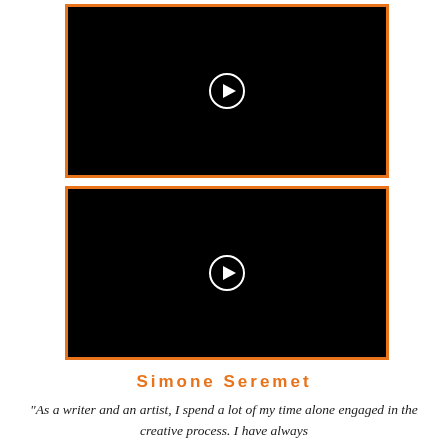[Figure (screenshot): Black video player thumbnail with orange border and white play button circle in center]
[Figure (screenshot): Black video player thumbnail with orange border and white play button circle in center]
Simone Seremet
“As a writer and an artist, I spend a lot of my time alone engaged in the creative process. I have always